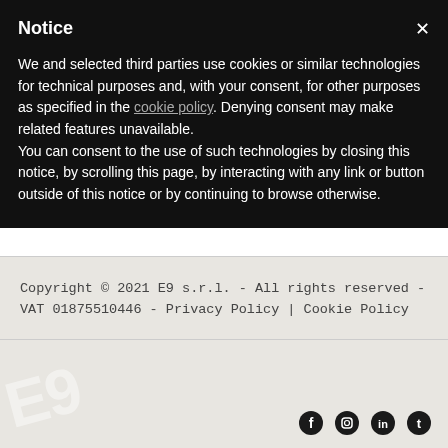Notice
We and selected third parties use cookies or similar technologies for technical purposes and, with your consent, for other purposes as specified in the cookie policy. Denying consent may make related features unavailable.
You can consent to the use of such technologies by closing this notice, by scrolling this page, by interacting with any link or button outside of this notice or by continuing to browse otherwise.
Copyright © 2021 E9 s.r.l. - All rights reserved - VAT 01875510446 - Privacy Policy | Cookie Policy
[Figure (logo): E9 company logo watermark in light color on beige background, partially visible, with social media icons (Facebook, Instagram, LinkedIn, other) at bottom right]